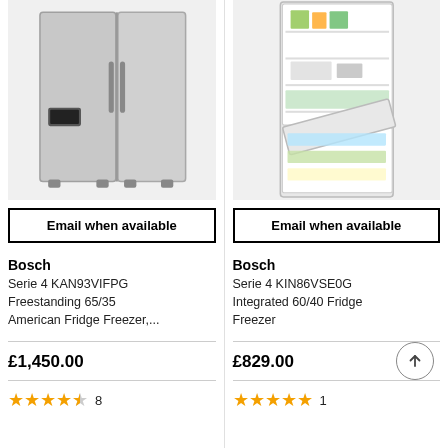[Figure (photo): Bosch stainless steel American fridge freezer (side-by-side doors)]
[Figure (photo): Bosch integrated fridge freezer with open doors showing interior shelves]
Email when available
Email when available
Bosch
Serie 4 KAN93VIFPG Freestanding 65/35 American Fridge Freezer,...
£1,450.00
★★★★½ 8
Bosch
Serie 4 KIN86VSE0G Integrated 60/40 Fridge Freezer
£829.00
★★★★★ 1